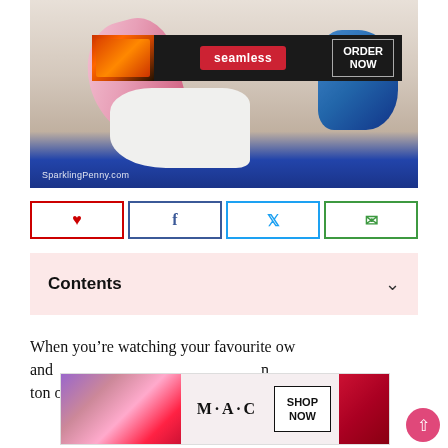[Figure (photo): Woman in white shirt with pink rubber gloves cleaning, with a Seamless food delivery advertisement banner overlaid on top. SparklingPenny.com watermark visible at bottom left of image.]
[Figure (infographic): Social sharing buttons: Pinterest (red border), Facebook (blue border), Twitter (light blue border), Email (green border)]
Contents
When you’re watching your favourite show and a ton of smudges, dust and general grime it can be
[Figure (photo): MAC cosmetics advertisement showing colorful lipsticks with SHOP NOW button, with a CLOSE button overlay.]